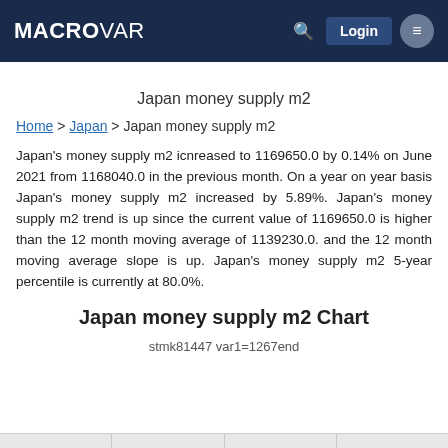MACROVAR  Login
Japan money supply m2
Home > Japan > Japan money supply m2
Japan's money supply m2 icnreased to 1169650.0 by 0.14% on June 2021 from 1168040.0 in the previous month. On a year on year basis Japan's money supply m2 increased by 5.89%. Japan's money supply m2 trend is up since the current value of 1169650.0 is higher than the 12 month moving average of 1139230.0. and the 12 month moving average slope is up. Japan's money supply m2 5-year percentile is currently at 80.0%.
Japan money supply m2 Chart
stmk81447 var1=1267end